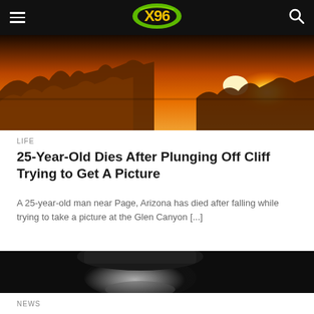X96 Navigation Bar
[Figure (photo): Canyon landscape with golden sunset light, red rock formations, dramatic sky]
LIFE
25-Year-Old Dies After Plunging Off Cliff Trying to Get A Picture
A 25-year-old man near Page, Arizona has died after falling while trying to take a picture at the Glen Canyon [...]
[Figure (photo): Black and white portrait photo of a young man looking up, dark background]
NEWS